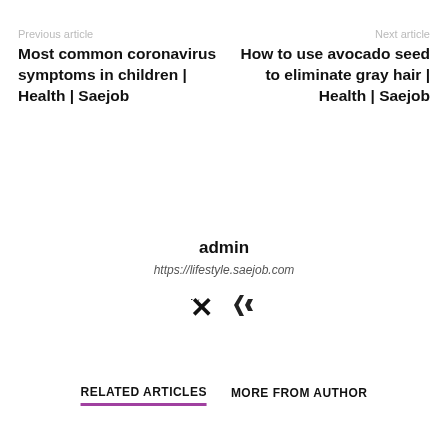Previous article
Most common coronavirus symptoms in children | Health | Saejob
Next article
How to use avocado seed to eliminate gray hair | Health | Saejob
admin
https://lifestyle.saejob.com
[Figure (logo): Xing social media icon]
RELATED ARTICLES
MORE FROM AUTHOR